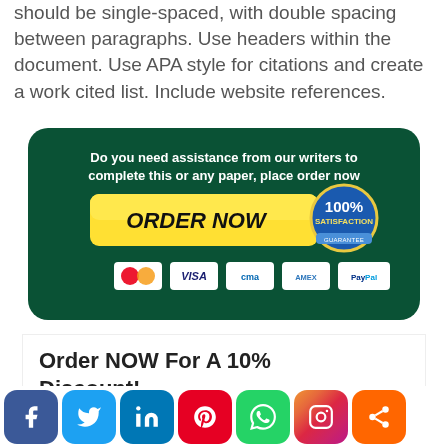should be single-spaced, with double spacing between paragraphs. Use headers within the document. Use APA style for citations and create a work cited list. Include website references.
[Figure (infographic): Dark green rounded rectangle ad banner with white bold text 'Do you need assistance from our writers to complete this or any paper, place order now', a yellow ORDER NOW button, a 100% satisfaction guarantee badge, and payment method icons (Mastercard, Visa, CMA, AMEX, PayPal).]
Order NOW For A 10% Discount!
[Figure (infographic): Social media sharing buttons row: Facebook (blue), Twitter (light blue), LinkedIn (dark blue), Pinterest (red), WhatsApp (green), Instagram (gradient), Share (orange).]